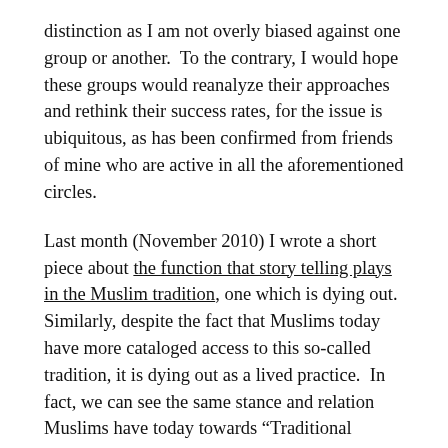distinction as I am not overly biased against one group or another.  To the contrary, I would hope these groups would reanalyze their approaches and rethink their success rates, for the issue is ubiquitous, as has been confirmed from friends of mine who are active in all the aforementioned circles.
Last month (November 2010) I wrote a short piece about the function that story telling plays in the Muslim tradition, one which is dying out.  Similarly, despite the fact that Muslims today have more cataloged access to this so-called tradition, it is dying out as a lived practice.  In fact, we can see the same stance and relation Muslims have today towards “Traditional Islam” as they do towards the Qur’an and Sunnah: Adoption of modes of dress, that are presumed to be more authentically Muslim, supersedes implementation of Muslim tradition; attempts to revive art forms such as calligraphy (of which I happen to personally